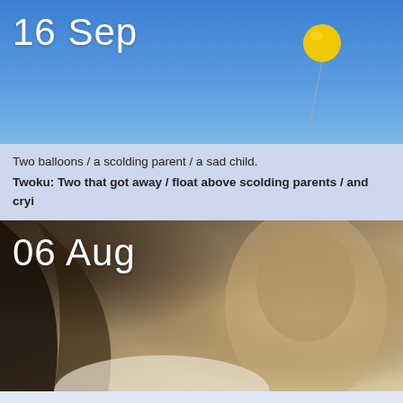[Figure (photo): Blue sky with a yellow balloon floating up with a string, date overlay '16 Sep' in white text]
Two balloons / a scolding parent / a sad child.
Twoku: Two that got away / float above scolding parents / and cryi...
[Figure (photo): Black and white / sepia photo of a woman with an upset/scolding expression, date overlay '06 Aug' in white text]
Parents wanted for / questioning, but they are now / unavailable.
Twoku: Need answers / from our parents but / they're not here.
[Figure (photo): Partial green/nature photo at bottom of page (cropped)]